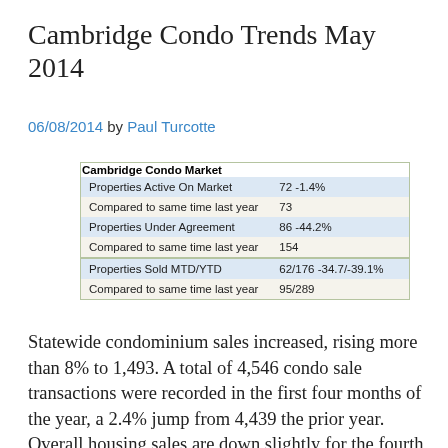Cambridge Condo Trends May 2014
06/08/2014 by Paul Turcotte
| Cambridge Condo Market |  |
| --- | --- |
| Properties Active On Market | 72 -1.4% |
| Compared to same time last year | 73 |
| Properties Under Agreement | 86 -44.2% |
| Compared to same time last year | 154 |
| Properties Sold MTD/YTD | 62/176 -34.7/-39.1% |
| Compared to same time last year | 95/289 |
Statewide condominium sales increased, rising more than 8% to 1,493. A total of 4,546 condo sale transactions were recorded in the first four months of the year, a 2.4% jump from 4,439 the prior year. Overall housing sales are down slightly for the fourth straight month. The condo